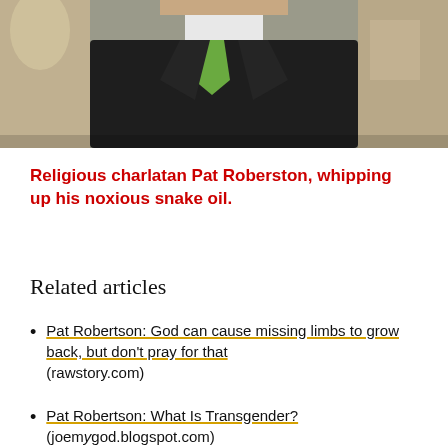[Figure (photo): Photo of a man in a dark suit with a green tie, cropped to show torso and lower face area]
Religious charlatan Pat Roberston, whipping up his noxious snake oil.
Related articles
Pat Robertson: God can cause missing limbs to grow back, but don't pray for that (rawstory.com)
Pat Robertson: What Is Transgender? (joemygod.blogspot.com)